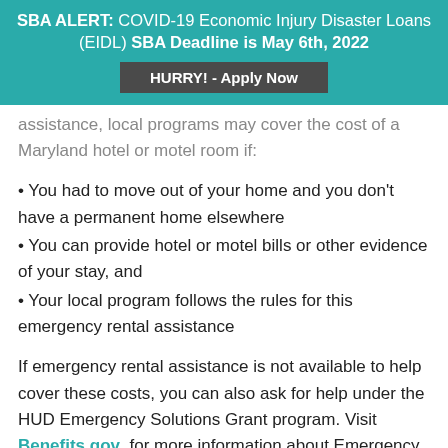SBA ALERT: COVID-19 Economic Injury Disaster Loans (EIDL) SBA Deadline is May 6th, 2022
[Figure (other): HURRY! - Apply Now button]
assistance, local programs may cover the cost of a Maryland hotel or motel room if:
• You had to move out of your home and you don't have a permanent home elsewhere
• You can provide hotel or motel bills or other evidence of your stay, and
• Your local program follows the rules for this emergency rental assistance
If emergency rental assistance is not available to help cover these costs, you can also ask for help under the HUD Emergency Solutions Grant program. Visit Benefits.gov for more information about Emergency